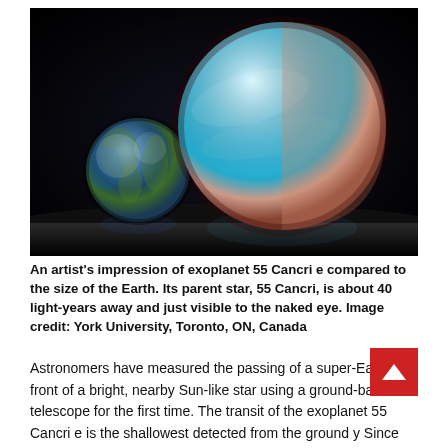[Figure (illustration): Artist's impression showing two planets side by side against a black space background: Earth (smaller, on the left) and exoplanet 55 Cancri e (larger, cyan/teal colored, on the right), both resting on a reflective dark surface.]
An artist's impression of exoplanet 55 Cancri e compared to the size of the Earth. Its parent star, 55 Cancri, is about 40 light-years away and just visible to the naked eye. Image credit: York University, Toronto, ON, Canada
Astronomers have measured the passing of a super-Earth in front of a bright, nearby Sun-like star using a ground-based telescope for the first time. The transit of the exoplanet 55 Cancri e is the shallowest detected from the ground y Since detecting a transit is the first step in analysing a planet's